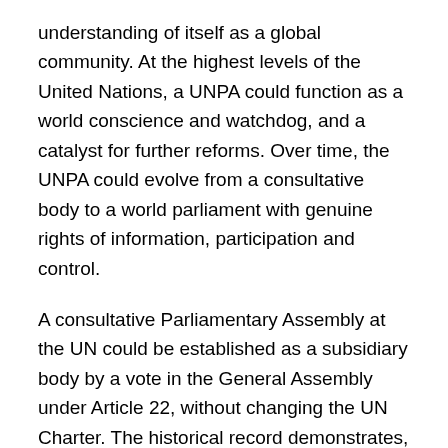understanding of itself as a global community. At the highest levels of the United Nations, a UNPA could function as a world conscience and watchdog, and a catalyst for further reforms. Over time, the UNPA could evolve from a consultative body to a world parliament with genuine rights of information, participation and control.
A consultative Parliamentary Assembly at the UN could be established as a subsidiary body by a vote in the General Assembly under Article 22, without changing the UN Charter. The historical record demonstrates, as with the Land Mines Treaty and the International Criminal Court, that if a few countries urged on by civil society take the lead, significant transformation at the international level is indeed possible.
The “Appeal for the Establishment for a Parliamentary